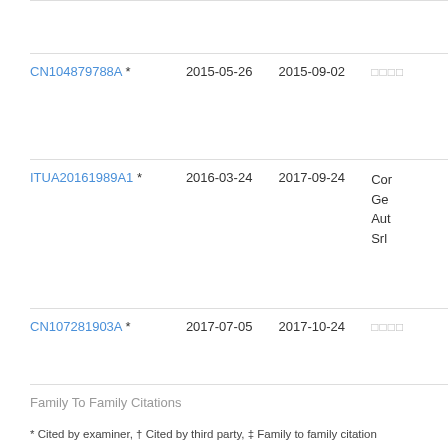| Publication | Priority Date | Publication Date | Assignee |
| --- | --- | --- | --- |
| CN104879788A * | 2015-05-26 | 2015-09-02 | □□□□ |
| ITUA20161989A1 * | 2016-03-24 | 2017-09-24 | Cor
Ge
Aut
Srl |
| CN107281903A * | 2017-07-05 | 2017-10-24 | □□□□ |
| Family To Family Citations |
* Cited by examiner, † Cited by third party, ‡ Family to family citation